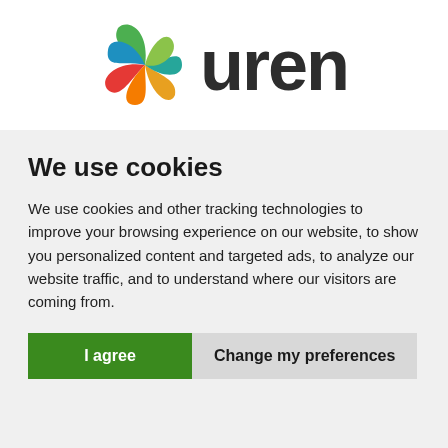[Figure (logo): Uren company logo: colorful circular leaf/petal icon in green, blue, orange, red followed by the word 'uren' in dark bold sans-serif text]
We use cookies
We use cookies and other tracking technologies to improve your browsing experience on our website, to show you personalized content and targeted ads, to analyze our website traffic, and to understand where our visitors are coming from.